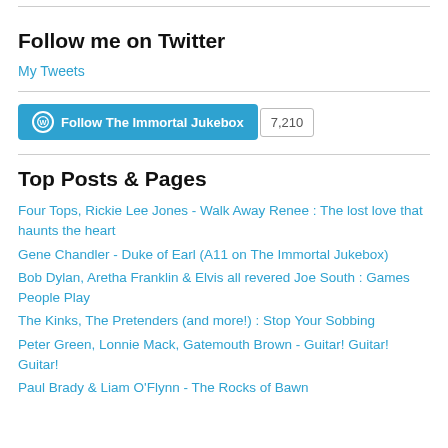Follow me on Twitter
My Tweets
[Figure (other): WordPress Follow button for The Immortal Jukebox with follower count 7,210]
Top Posts & Pages
Four Tops, Rickie Lee Jones - Walk Away Renee : The lost love that haunts the heart
Gene Chandler - Duke of Earl (A11 on The Immortal Jukebox)
Bob Dylan, Aretha Franklin & Elvis all revered Joe South : Games People Play
The Kinks, The Pretenders (and more!) : Stop Your Sobbing
Peter Green, Lonnie Mack, Gatemouth Brown - Guitar! Guitar! Guitar!
Paul Brady & Liam O'Flynn - The Rocks of Bawn